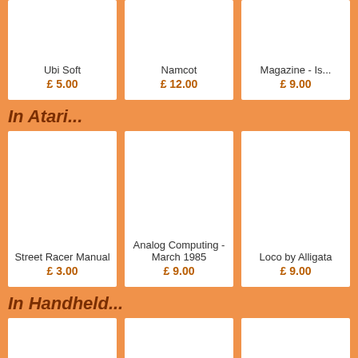Ubi Soft
£ 5.00
Namcot
£ 12.00
Magazine - Is...
£ 9.00
In Atari...
Street Racer Manual
£ 3.00
Analog Computing - March 1985
£ 9.00
Loco by Alligata
£ 9.00
In Handheld...